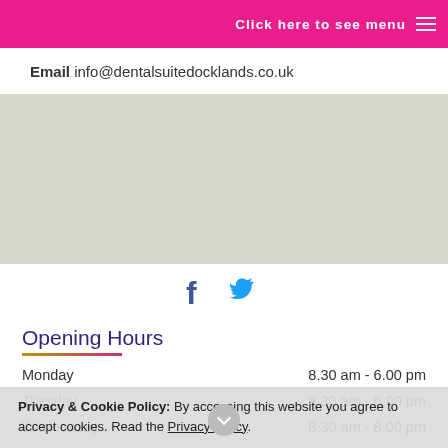Click here to see menu
Email info@dentalsuitedocklands.co.uk
[Figure (other): Map/street map background image]
[Figure (other): Social media icons: Facebook (f) and Twitter bird]
Opening Hours
Monday    8.30 am - 6.00 pm
Tuesday    8.30 am - 6.00 pm
Wednesday    8.30 am - 8.00 pm
Thursday    8.30 am - 6.00 pm
Friday    8.30 am - 1.30 pm    2.00 pm - 5.00 pm
Open every alternate Saturday from 9 am - 1.30 pm
Closed for lunch 1.30 pm - 2.00 pm Monday - Thursday
Privacy & Cookie Policy: By accessing this website you agree to accept cookies. Read the Privacy Policy.